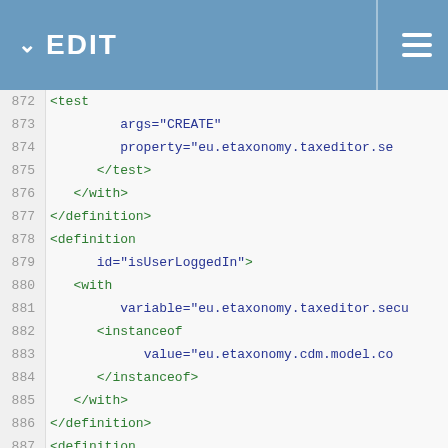EDIT
[Figure (screenshot): XML code editor showing lines 872-897 with XML definition elements including test, with, definition, instanceof, iterate, equals tags with attributes like args, property, id, variable, value, ifEmpty, operator]